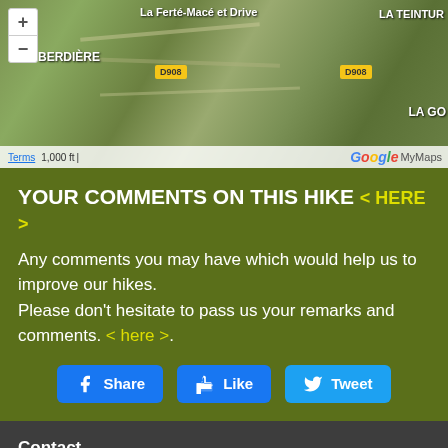[Figure (map): Google MyMaps satellite view showing La Ferté-Macé et Drive area with roads D908 labeled, zoom controls (+/-), scale bar showing 1,000 ft, Google MyMaps branding, and place labels including LA TEINTUR, BERDIÈRE, MAURE, LA GOT]
YOUR COMMENTS ON THIS HIKE < HERE >
Any comments you may have which would help us to improve our hikes.
Please don't hesitate to pass us your remarks and comments. < here >.
Share   Like   Tweet
Contact
Découverte Bocage Ornais
Office du tourisme La Ferté-Macé et sa région
11 rue de La Victoire, 61600,La Ferté-Macé
France
Téléphone : 0033 2 33 37 10 97